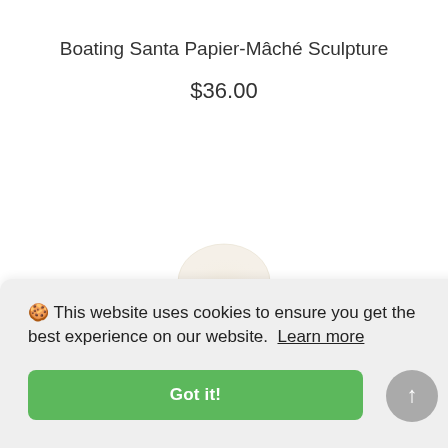Boating Santa Papier-Mâché Sculpture
$36.00
[Figure (photo): Partial view of a Boating Santa Papier-Mâché Sculpture — a cream/off-white rounded head shape visible at the top, with a red body peeking in at the bottom of the page.]
🍪 This website uses cookies to ensure you get the best experience on our website.  Learn more
Got it!